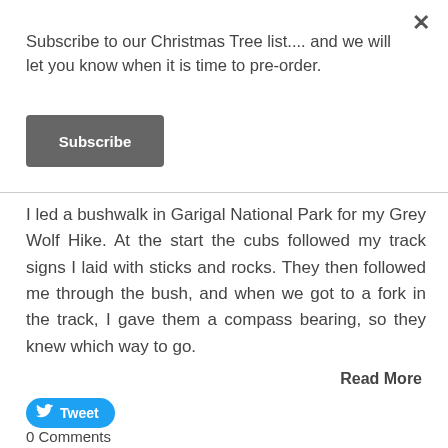×
Subscribe to our Christmas Tree list.... and we will let you know when it is time to pre-order.
Subscribe
I led a bushwalk in Garigal National Park for my Grey Wolf Hike. At the start the cubs followed my track signs I laid with sticks and rocks. They then followed me through the bush, and when we got to a fork in the track, I gave them a compass bearing, so they knew which way to go.
Read More
Tweet
0 Comments